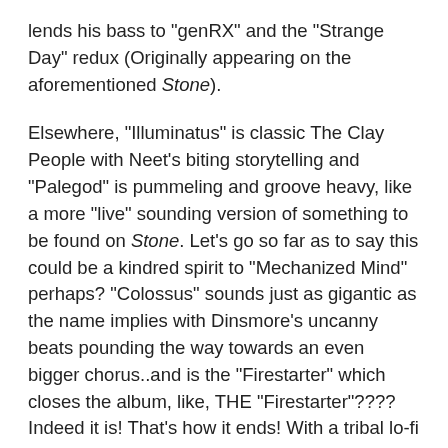lends his bass to "genRX" and the "Strange Day" redux (Originally appearing on the aforementioned Stone).
Elsewhere, "Illuminatus" is classic The Clay People with Neet's biting storytelling and "Palegod" is pummeling and groove heavy, like a more "live" sounding version of something to be found on Stone. Let's go so far as to say this could be a kindred spirit to "Mechanized Mind" perhaps? "Colossus" sounds just as gigantic as the name implies with Dinsmore's uncanny beats pounding the way towards an even bigger chorus..and is the "Firestarter" which closes the album, like, THE "Firestarter"???? Indeed it is! That's how it ends! With a tribal lo-fi approach, the cover works really well and is the best way to end an already